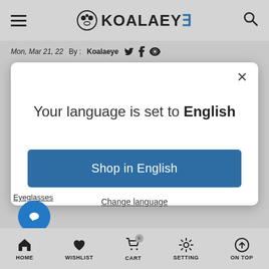KOALAEYE
Mon, Mar 21, 22  By : Koalaeye
Your language is set to English
Shop in English
Change language
Eyeglasses
HOME  WISHLIST  CART  SETTING  ON TOP